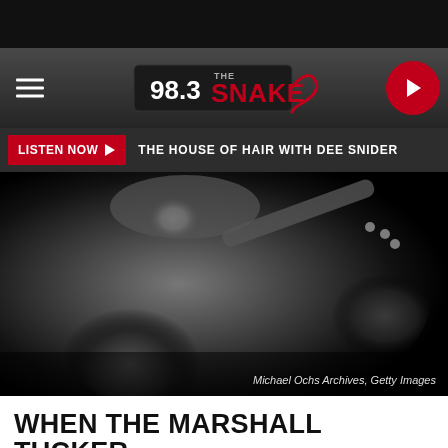98.3 The Snake — navigation header with hamburger menu and play button
LISTEN NOW ▶  THE HOUSE OF HAIR WITH DEE SNIDER
[Figure (photo): Black and white photo of a long-haired musician playing bass guitar, eyes closed, dark background. Credit: Michael Ochs Archives, Getty Images]
Michael Ochs Archives, Getty Images
WHEN THE MARSHALL TUCKER